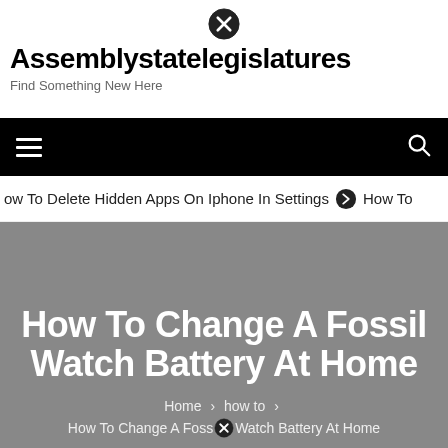[Figure (logo): Close/X circle icon at top center]
Assemblystatelegislatures
Find Something New Here
Navigation bar with hamburger menu and search icon
ow To Delete Hidden Apps On Iphone In Settings  ➔  How To
How To Change A Fossil Watch Battery At Home
Home > how to > How To Change A Fossil Watch Battery At Home